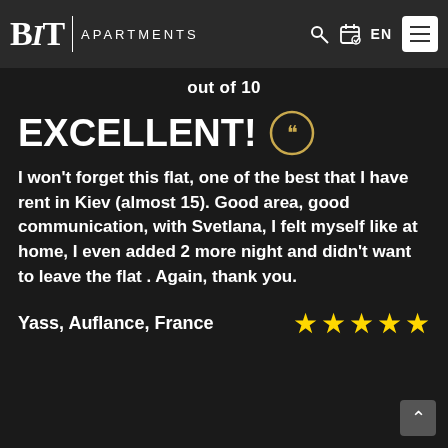BIT | APARTMENTS  EN
out of 10
EXCELLENT!
I won't forget this flat, one of the best that I have rent in Kiev (almost 15). Good area, good communication, with Svetlana, I felt myself like at home, I even added 2 more night and didn't want to leave the flat . Again, thank you.
Yass, Auflance, France ★★★★★